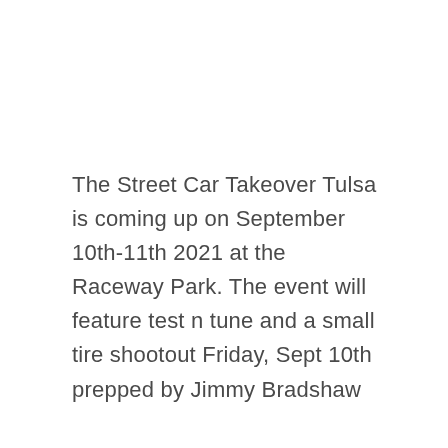The Street Car Takeover Tulsa is coming up on September 10th-11th 2021 at the Raceway Park. The event will feature test n tune and a small tire shootout Friday, Sept 10th prepped by Jimmy Bradshaw